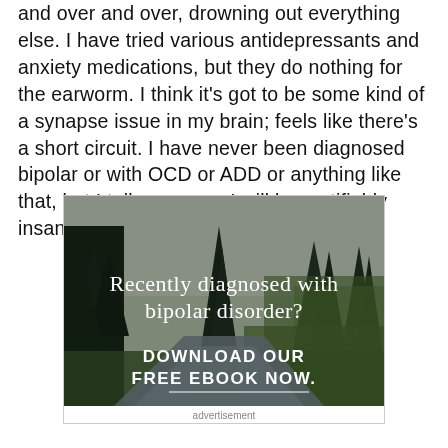and over and over, drowning out everything else. I have tried various antidepressants and anxiety medications, but they do nothing for the earworm. I think it's got to be some kind of a synapse issue in my brain; feels like there's a short circuit. I have never been diagnosed bipolar or with OCD or ADD or anything like that, but I tell you, soon I will be certifiably insane and they will have to put me in a
[Figure (illustration): Advertisement image showing a forest and river landscape with text overlay: 'Recently diagnosed with bipolar disorder? DOWNLOAD OUR FREE EBOOK NOW.' Below the image is the label 'advertisement'.]
advertisement